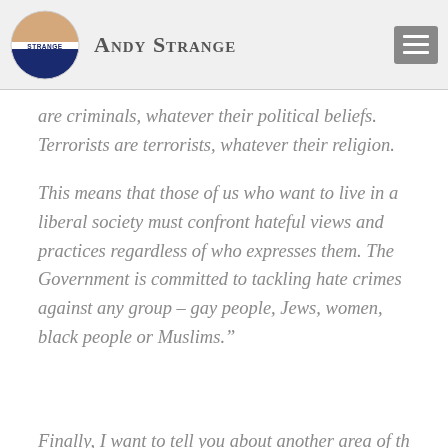Andy Strange
are criminals, whatever their political beliefs. Terrorists are terrorists, whatever their religion.
This means that those of us who want to live in a liberal society must confront hateful views and practices regardless of who expresses them. The Government is committed to tackling hate crimes against any group – gay people, Jews, women, black people or Muslims.”
Finally, I want to tell you about another area of this...